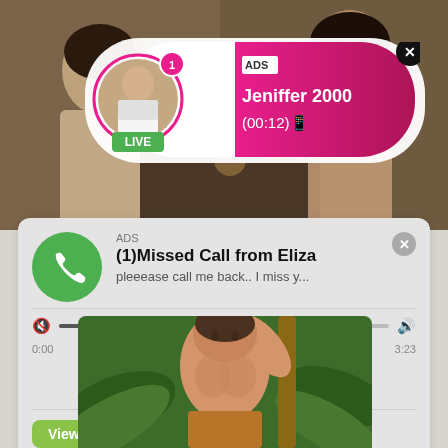[Figure (screenshot): Background photo strip showing two women at the top of the page]
[Figure (infographic): Live notification popup with pink gradient background showing ADS label, username Jeniffer 2000, time (00:12), avatar with LIVE badge]
[Figure (infographic): Missed call notification card showing green phone icon, ADS label, title (1)Missed Call from Eliza, subtitle pleeease call me back.. I miss y..., audio progress bar with 0:00 to 3:23, playback controls, View button, and 500X600 jpeg file attachment]
[Figure (photo): Photo of a shirtless man with short hair outdoors with tropical plants in background]